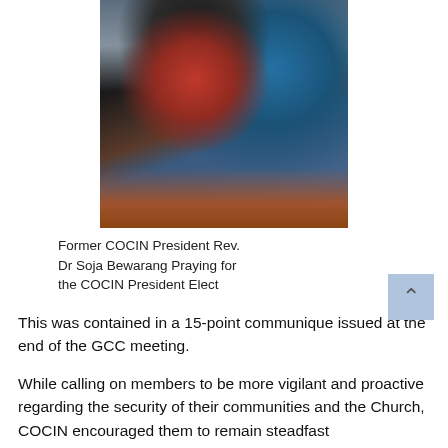[Figure (photo): Two people posing together; one person kneeling in black clothing with a red shirt, and another person standing in a blue outfit, in what appears to be a church setting.]
Former COCIN President Rev. Dr Soja Bewarang Praying for the COCIN President Elect
This was contained in a 15-point communique issued at the end of the GCC meeting.
While calling on members to be more vigilant and proactive regarding the security of their communities and the Church, COCIN encouraged them to remain steadfast